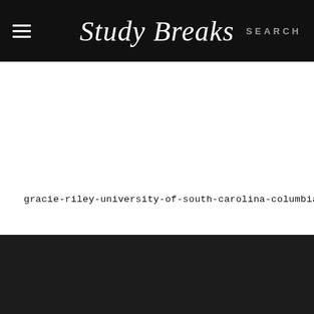Study Breaks — SEARCH
gracie-riley-university-of-south-carolina-columbia
[Figure (other): Social sharing buttons: Facebook (blue), Twitter (light blue), Google+ (red), Pinterest (red), Reddit (gray), Tumblr (dark blue)]